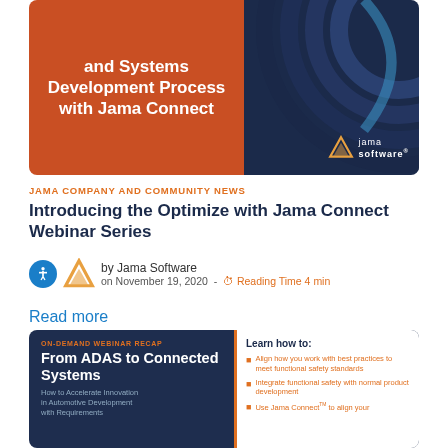[Figure (illustration): Jama Software webinar card with orange left panel showing 'and Systems Development Process with Jama Connect' title text and dark navy right panel with concentric arc decorations and Jama Software logo]
JAMA COMPANY AND COMMUNITY NEWS
Introducing the Optimize with Jama Connect Webinar Series
by Jama Software on November 19, 2020 - Reading Time 4 min
Read more
[Figure (illustration): Jama Software on-demand webinar recap card: dark navy background, left side shows 'From ADAS to Connected Systems' title and subtitle 'How to Accelerate Innovation in Automotive Development with Requirements', right white panel with orange border shows 'Learn how to:' with bullet points about functional safety standards, integrating functional safety, and using Jama Connect]